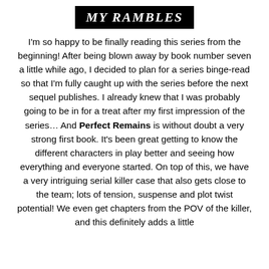MY RAMBLES
I'm so happy to be finally reading this series from the beginning! After being blown away by book number seven a little while ago, I decided to plan for a series binge-read so that I'm fully caught up with the series before the next sequel publishes. I already knew that I was probably going to be in for a treat after my first impression of the series… And Perfect Remains is without doubt a very strong first book. It's been great getting to know the different characters in play better and seeing how everything and everyone started. On top of this, we have a very intriguing serial killer case that also gets close to the team; lots of tension, suspense and plot twist potential! We even get chapters from the POV of the killer, and this definitely adds a little